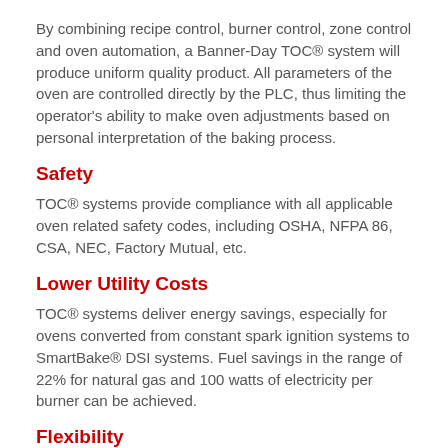By combining recipe control, burner control, zone control and oven automation, a Banner-Day TOC® system will produce uniform quality product. All parameters of the oven are controlled directly by the PLC, thus limiting the operator's ability to make oven adjustments based on personal interpretation of the baking process.
Safety
TOC® systems provide compliance with all applicable oven related safety codes, including OSHA, NFPA 86, CSA, NEC, Factory Mutual, etc.
Lower Utility Costs
TOC® systems deliver energy savings, especially for ovens converted from constant spark ignition systems to SmartBake® DSI systems. Fuel savings in the range of 22% for natural gas and 100 watts of electricity per burner can be achieved.
Flexibility
Today's modern variety lines demand frequent product